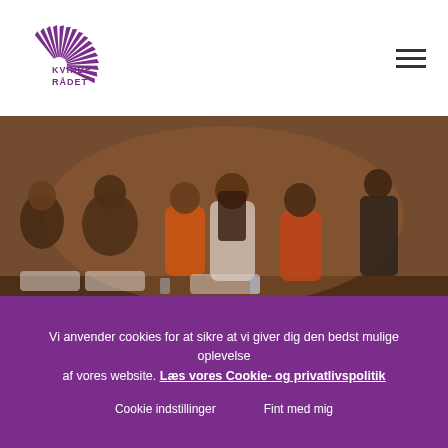Kvinde Rådet logo and navigation
[Figure (photo): Group of young women sitting and talking at an event, colorful clothing, warm indoor lighting]
12. maj, 2021 / Arrangementer, Internationalt arbejde, Nyheder, Pressemeddelser
Vi anvender cookies for at sikre at vi giver dig den bedst mulige oplevelse af vores website. Læs vores Cookie- og privatlivspolitik
Cookie indstillinger   Fint med mig